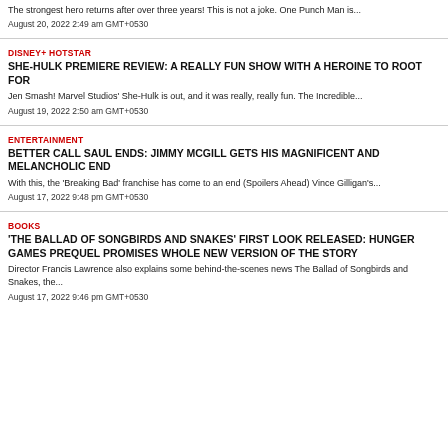The strongest hero returns after over three years! This is not a joke. One Punch Man is...
August 20, 2022 2:49 am GMT+0530
DISNEY+ HOTSTAR
SHE-HULK PREMIERE REVIEW: A REALLY FUN SHOW WITH A HEROINE TO ROOT FOR
Jen Smash! Marvel Studios' She-Hulk is out, and it was really, really fun. The Incredible...
August 19, 2022 2:50 am GMT+0530
ENTERTAINMENT
BETTER CALL SAUL ENDS: JIMMY MCGILL GETS HIS MAGNIFICENT AND MELANCHOLIC END
With this, the 'Breaking Bad' franchise has come to an end (Spoilers Ahead) Vince Gilligan's...
August 17, 2022 9:48 pm GMT+0530
BOOKS
'THE BALLAD OF SONGBIRDS AND SNAKES' FIRST LOOK RELEASED: HUNGER GAMES PREQUEL PROMISES WHOLE NEW VERSION OF THE STORY
Director Francis Lawrence also explains some behind-the-scenes news The Ballad of Songbirds and Snakes, the...
August 17, 2022 9:46 pm GMT+0530